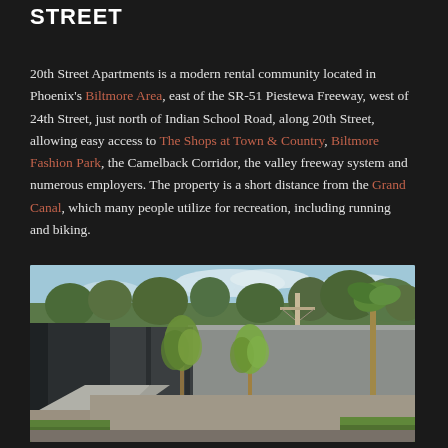STREET
20th Street Apartments is a modern rental community located in Phoenix's Biltmore Area, east of the SR-51 Piestewa Freeway, west of 24th Street, just north of Indian School Road, along 20th Street, allowing easy access to The Shops at Town & Country, Biltmore Fashion Park, the Camelback Corridor, the valley freeway system and numerous employers. The property is a short distance from the Grand Canal, which many people utilize for recreation, including running and biking.
[Figure (photo): Outdoor courtyard area of 20th Street Apartments showing a concrete walkway, young trees, a tall privacy wall/fence in gray and dark colors, gravel landscaping, green grass, and trees/sky in the background]